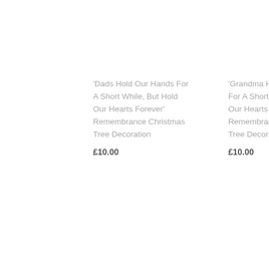'Dads Hold Our Hands For A Short While, But Hold Our Hearts Forever' Remembrance Christmas Tree Decoration
£10.00
'Grandma Hold Our Hands For A Short While, But Hold Our Hearts Forever' Remembrance Christmas Tree Decoration
£10.00